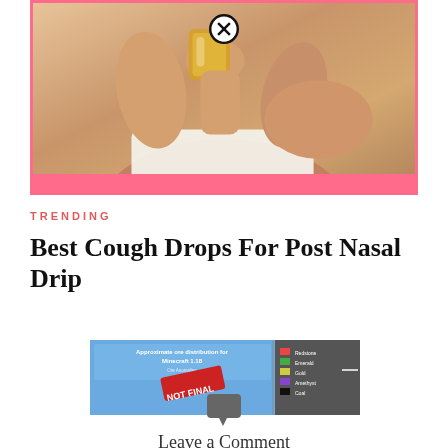[Figure (photo): Woman wrapped in white towel holding a glass cup, warm skin tones, close-up. Orange border frame with pink strip at bottom and a close/X button circle overlay.]
TRENDING
Best Cough Drops For Post Nasal Drip
[Figure (screenshot): Screenshot showing 'Approximate ore distribution for Minecraft 1.18' chart with NOT FINAL stamp, and a comparison panel on the right side.]
Leave a Comment